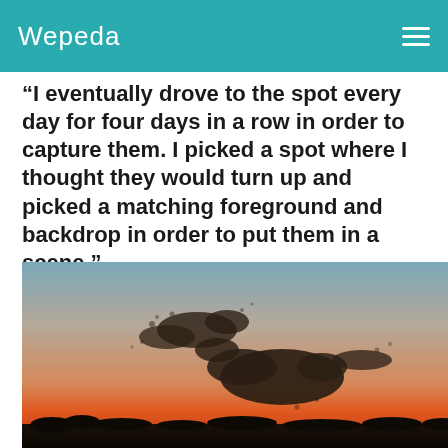Wepeda
“I eventually drove to the spot every day for four days in a row in order to capture them. I picked a spot where I thought they would turn up and picked a matching foreground and backdrop in order to put them in a scene.”
[Figure (photo): A murmuration of starlings forming a bird-like shape against a sunset sky with warm orange and red hues near the horizon and blue-grey tones above, with a dark tree silhouette at the bottom.]